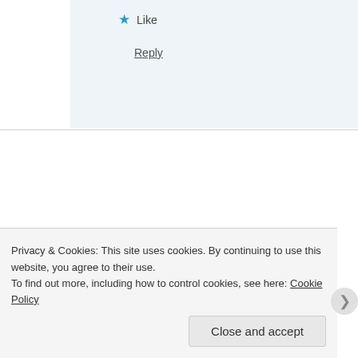★ Like
Reply
JD Gold says:
April 28, 2014 at 12:53 pm
I'm going to add this to the English Teacher's worksho (properly attributed, of course). You truly have created
Privacy & Cookies: This site uses cookies. By continuing to use this website, you agree to their use.
To find out more, including how to control cookies, see here: Cookie Policy
Close and accept